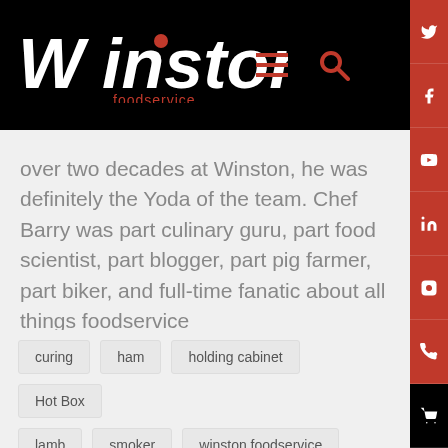[Figure (logo): Winston Foodservice logo in white and red on black header bar]
over two decades at Winston, he was definitely the Yoda of the team. Chef Barry was part culinary guru, part food scientist, part blogger, part pig farmer, part biker, and full-time fanatic about all things foodservice
curing
ham
holding cabinet
Hot Box
lamb
smoker
winston foodservice